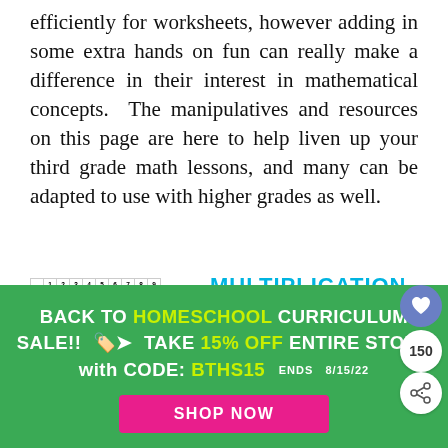efficiently for worksheets, however adding in some extra hands on fun can really make a difference in their interest in mathematical concepts. The manipulatives and resources on this page are here to help liven up your third grade math lessons, and many can be adapted to use with higher grades as well.
[Figure (other): Multiplication Charts image with colorful table thumbnail and text 'MULTIPLICATION CHARTS Color']
BACK TO HOMESCHOOL CURRICULUM SALE!! 🏷️➤ TAKE 15% OFF ENTIRE STORE with CODE: BTHS15   ENDS 8/15/22
SHOP NOW